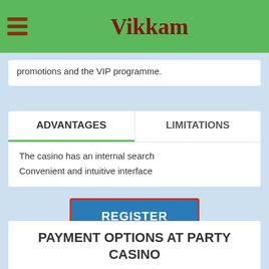Vikkam
promotions and the VIP programme.
ADVANTAGES | LIMITATIONS
The casino has an internal search
Convenient and intuitive interface
REGISTER
PAYMENT OPTIONS AT PARTY CASINO
8/10
Party Casino includes a wide selection of payment